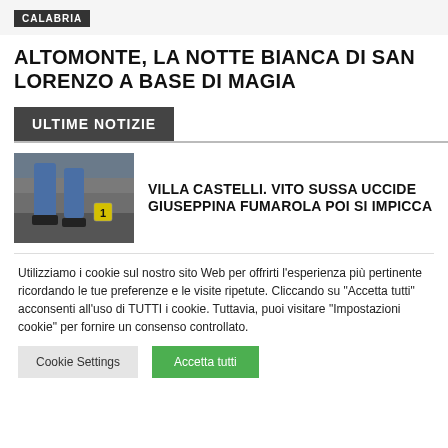CALABRIA
ALTOMONTE, LA NOTTE BIANCA DI SAN LORENZO A BASE DI MAGIA
ULTIME NOTIZIE
[Figure (photo): Crime scene photo showing a person's legs near a numbered evidence marker (number 1) on stone steps.]
VILLA CASTELLI. VITO SUSSA UCCIDE GIUSEPPINA FUMAROLA POI SI IMPICCA
Utilizziamo i cookie sul nostro sito Web per offrirti l'esperienza più pertinente ricordando le tue preferenze e le visite ripetute. Cliccando su "Accetta tutti" acconsenti all'uso di TUTTI i cookie. Tuttavia, puoi visitare "Impostazioni cookie" per fornire un consenso controllato.
Cookie Settings
Accetta tutti